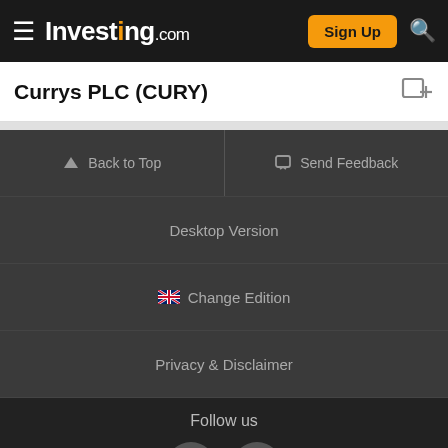Investing.com — Sign Up
Currys PLC (CURY)
Back to Top
Send Feedback
Desktop Version
Change Edition
Privacy & Disclaimer
Follow us